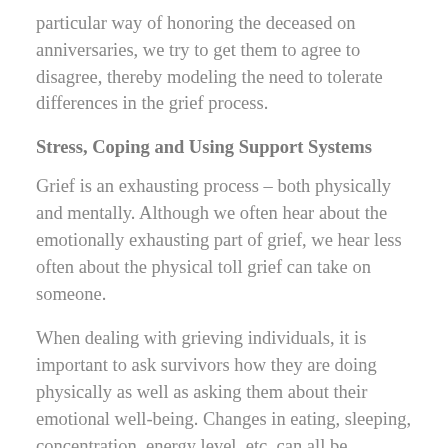particular way of honoring the deceased on anniversaries, we try to get them to agree to disagree, thereby modeling the need to tolerate differences in the grief process.
Stress, Coping and Using Support Systems
Grief is an exhausting process – both physically and mentally. Although we often hear about the emotionally exhausting part of grief, we hear less often about the physical toll grief can take on someone.
When dealing with grieving individuals, it is important to ask survivors how they are doing physically as well as asking them about their emotional well-being. Changes in eating, sleeping, concentration, energy level, etc. can all be strongly affected when dealing